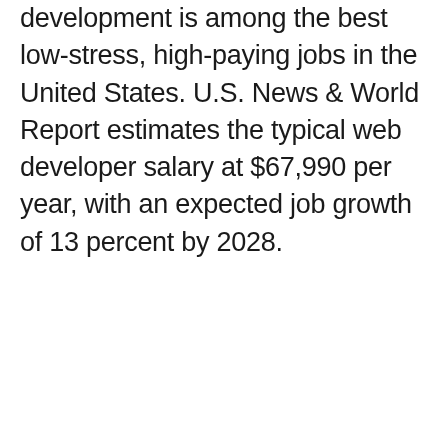development is among the best low-stress, high-paying jobs in the United States. U.S. News & World Report estimates the typical web developer salary at $67,990 per year, with an expected job growth of 13 percent by 2028.